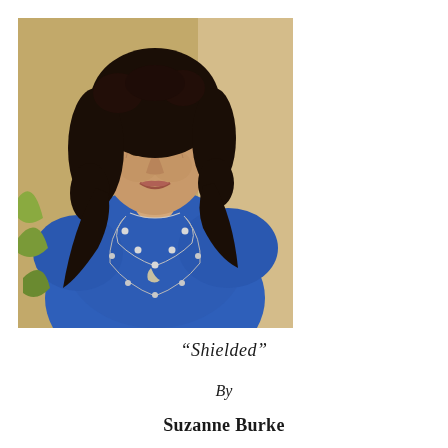[Figure (photo): Portrait photograph of an older woman with dark curly hair, wearing a bright blue top and layered silver necklaces, smiling at the camera against a warm beige background.]
“Shielded”
By
Suzanne Burke